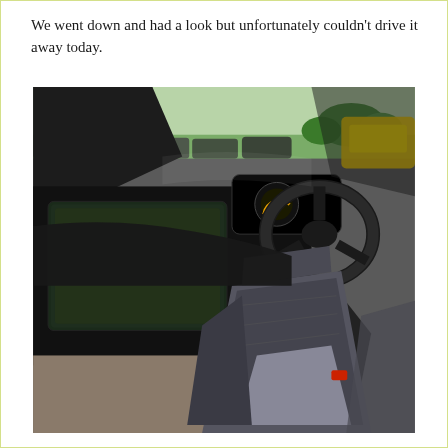We went down and had a look but unfortunately couldn't drive it away today.
[Figure (photo): Interior photo of a modern car (likely a Peugeot), showing the driver's seat from the open door side. Visible are the steering wheel, digital instrument cluster, large touchscreen infotainment display, center console with gear selector, and grey/black upholstered seats. Through the windscreen, a car dealership forecourt with multiple vehicles and trees is visible, along with a yellow car reflected in the side mirror.]